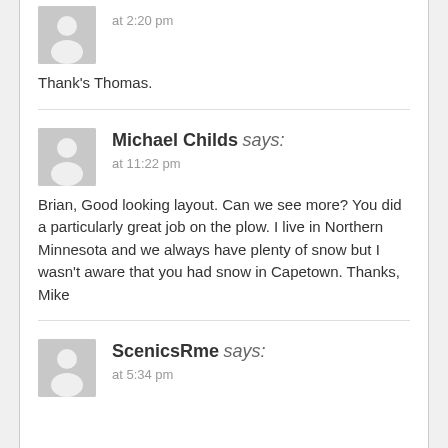at 2:20 pm
Thank's Thomas.
Michael Childs says:
at 11:22 pm
Brian, Good looking layout. Can we see more? You did a particularly great job on the plow. I live in Northern Minnesota and we always have plenty of snow but I wasn't aware that you had snow in Capetown. Thanks, Mike
ScenicsRme says:
at 5:34 pm